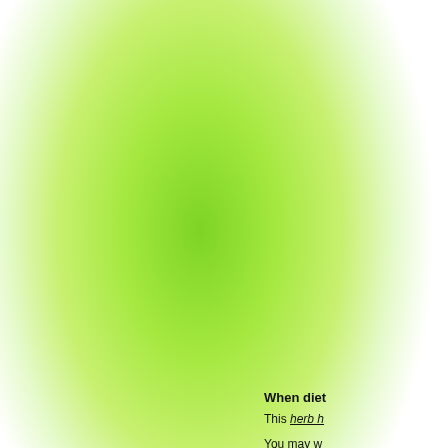[Figure (illustration): Large green radial gradient blob on the left side of the page, giving a glowing green botanical/nature feel.]
When diet
This herb h
You may w buying a la
This herb h
The taste g
As like mo tea bag fo